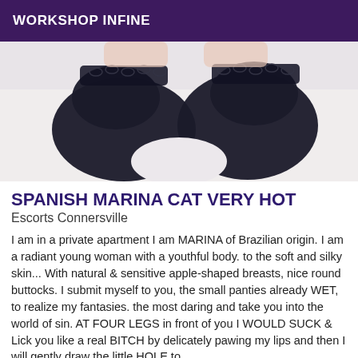WORKSHOP INFINE
[Figure (photo): Close-up photo of legs wearing black lace stockings on white bedding]
SPANISH MARINA CAT VERY HOT
Escorts Connersville
I am in a private apartment I am MARINA of Brazilian origin. I am a radiant young woman with a youthful body. to the soft and silky skin... With natural & sensitive apple-shaped breasts, nice round buttocks. I submit myself to you, the small panties already WET, to realize my fantasies. the most daring and take you into the world of sin. AT FOUR LEGS in front of you I WOULD SUCK & Lick you like a real BITCH by delicately pawing my lips and then I will gently draw the little HOLE to